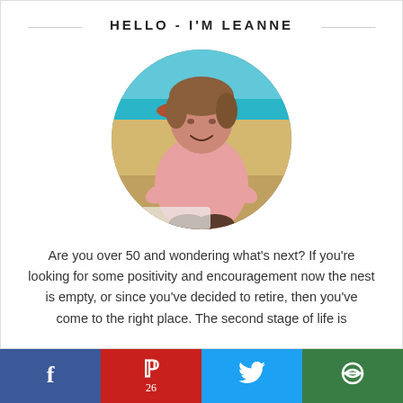HELLO - I'M LEANNE
[Figure (photo): Circular portrait photo of Leanne smiling at a beach with turquoise water and rocks in the background, wearing a pink top.]
Are you over 50 and wondering what’s next? If you’re looking for some positivity and encouragement now the nest is empty, or since you’ve decided to retire, then you’ve come to the right place. The second stage of life is
Facebook | Pinterest 26 | Twitter | Other